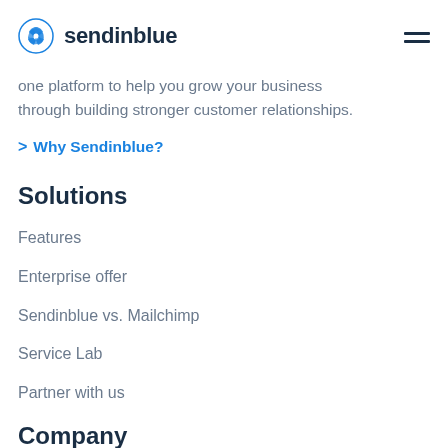sendinblue
one platform to help you grow your business through building stronger customer relationships.
> Why Sendinblue?
Solutions
Features
Enterprise offer
Sendinblue vs. Mailchimp
Service Lab
Partner with us
Company